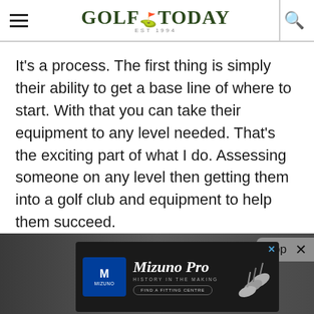GOLF TODAY
It's a process. The first thing is simply their ability to get a base line of where to start. With that you can take their equipment to any level needed. That's the exciting part of what I do. Assessing someone on any level then getting them into a golf club and equipment to help them succeed.
[Figure (photo): Bottom portion of page showing a partial photo strip with people, overlaid by a Mizuno Pro advertisement banner and a 'Top' navigation popup in the bottom-right corner.]